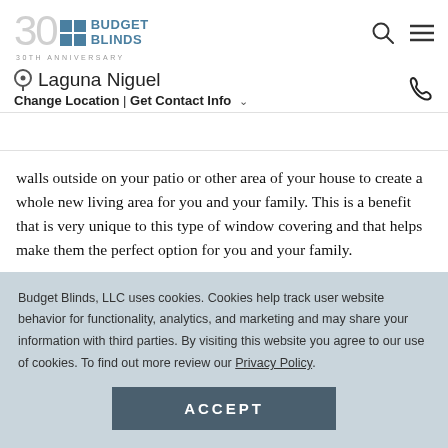Budget Blinds 30th Anniversary — Laguna Niguel — Change Location | Get Contact Info
walls outside on your patio or other area of your house to create a whole new living area for you and your family. This is a benefit that is very unique to this type of window covering and that helps make them the perfect option for you and your family.
Three: Complements all home décor – You carefully selected the home décor that is in every room in your
Budget Blinds, LLC uses cookies. Cookies help track user website behavior for functionality, analytics, and marketing and may share your information with third parties. By visiting this website you agree to our use of cookies. To find out more review our Privacy Policy.